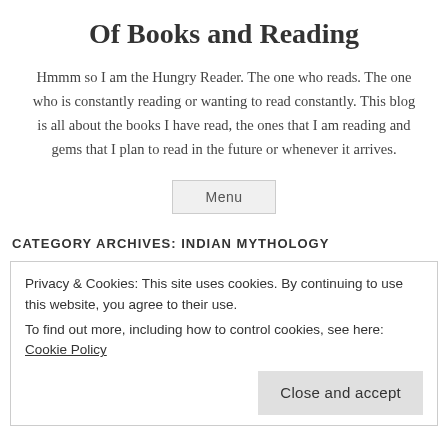Of Books and Reading
Hmmm so I am the Hungry Reader. The one who reads. The one who is constantly reading or wanting to read constantly. This blog is all about the books I have read, the ones that I am reading and gems that I plan to read in the future or whenever it arrives.
Menu
CATEGORY ARCHIVES: INDIAN MYTHOLOGY
Privacy & Cookies: This site uses cookies. By continuing to use this website, you agree to their use.
To find out more, including how to control cookies, see here: Cookie Policy
Close and accept